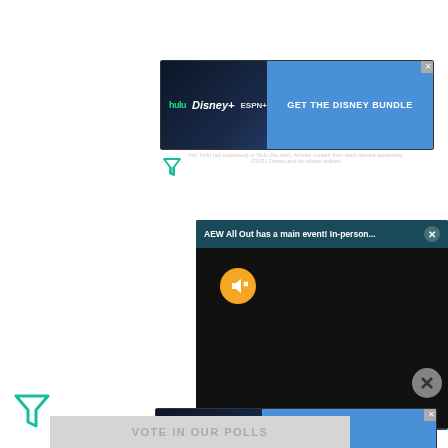[Figure (screenshot): Disney Bundle advertisement banner at top with Hulu, Disney+, ESPN+ logos and 'GET THE DISNEY BUNDLE' call to action on blue background. Small close button in top-right corner and disclaimer text below.]
[Figure (logo): Green filter/funnel icon below the top ad]
[Figure (screenshot): Video popup overlay showing 'AEW All Out has a main event! In-person...' header with close (X) button, dark video area with yellow mute button and circular close button]
[Figure (logo): Green filter/funnel icon on the left side]
[Figure (screenshot): Disney Bundle advertisement banner at bottom with Hulu, Disney+, ESPN+ logos and 'GET THE DISNEY BUNDLE' call to action on blue background with disclaimer text.]
VOTE IN OUR POLLS